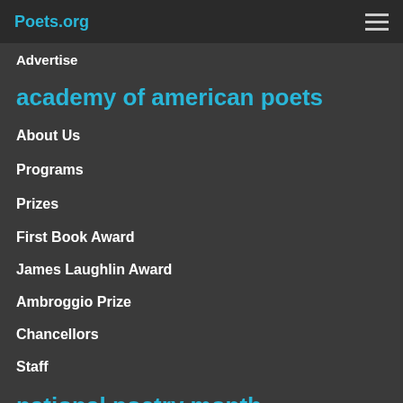Poets.org
Advertise
academy of american poets
About Us
Programs
Prizes
First Book Award
James Laughlin Award
Ambroggio Prize
Chancellors
Staff
national poetry month
Poetry & the Creative Mind